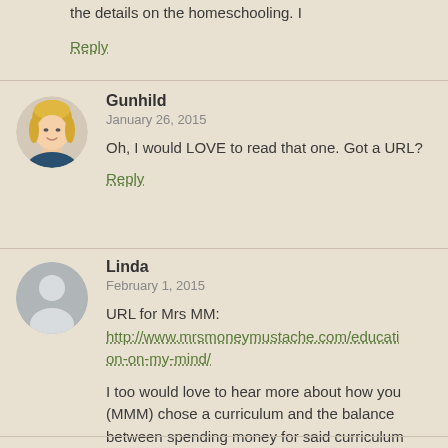the details on the homeschooling. I
Reply
Gunhild
January 26, 2015
Oh, I would LOVE to read that one. Got a URL?
Reply
Linda
February 1, 2015
URL for Mrs MM: http://www.mrsmoneymustache.com/education-on-my-mind/
I too would love to hear more about how you (MMM) chose a curriculum and the balance between spending money for said curriculum and not knowing how to do it on your own.
Reply